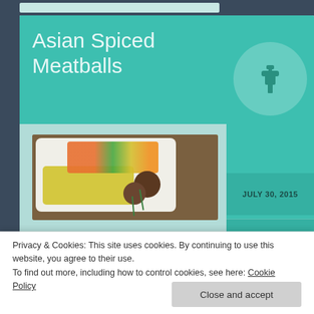Asian Spiced Meatballs
[Figure (photo): A plate of Asian spiced meatballs served with yellow rice and colorful mixed vegetables (carrots, green beans, corn)]
These little darlings are something you
JULY 30, 2015
SHARON
Privacy & Cookies: This site uses cookies. By continuing to use this website, you agree to their use.
To find out more, including how to control cookies, see here: Cookie Policy
Close and accept